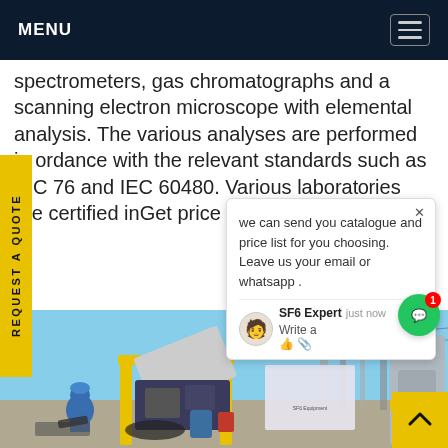MENU
spectrometers, gas chromatographs and a scanning electron microscope with elemental analysis. The various analyses are performed in accordance with the relevant standards such as IEC 76 and IEC 60480. Various laboratories are certified inGet price
REQUEST A QUOTE
[Figure (photo): Outdoor industrial SF6 gas handling equipment on a construction/substation site. Workers in hard hats visible. Yellow crane/lift structure with various equipment and a banner. Substation infrastructure in background under blue sky.]
we can send you catalogue and price list for you choosing.
Leave us your email or whatsapp .
SF6 Expert   just now
Write a